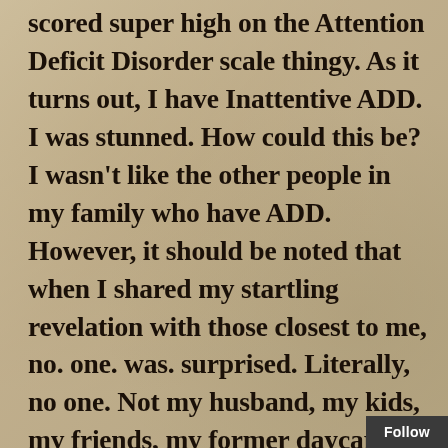scored super high on the Attention Deficit Disorder scale thingy. As it turns out, I have Inattentive ADD. I was stunned. How could this be? I wasn't like the other people in my family who have ADD. However, it should be noted that when I shared my startling revelation with those closest to me, no. one. was. surprised. Literally, no one. Not my husband, my kids, my friends, my former daycare children, my siblings, no one. Nobody. Only me.